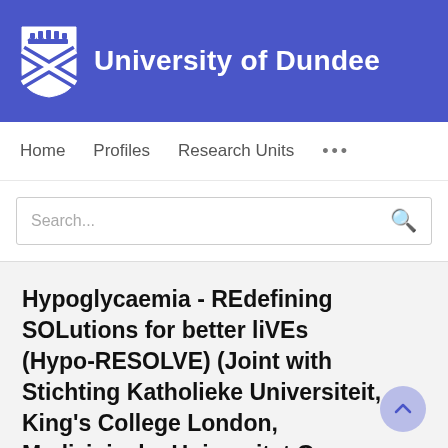University of Dundee
Home   Profiles   Research Units   ...
Search...
Hypoglycaemia - REdefining SOLutions for better liVEs (Hypo-RESOLVE) (Joint with Stichting Katholieke Universiteit, King's College London, Medizinische Universitat Graz and 19 others)